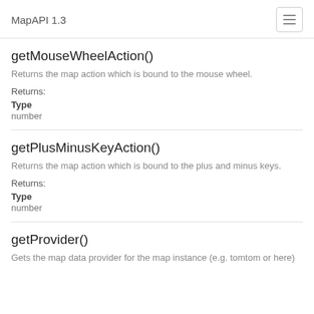MapAPI 1.3
getMouseWheelAction()
Returns the map action which is bound to the mouse wheel.
Returns:
Type
number
getPlusMinusKeyAction()
Returns the map action which is bound to the plus and minus keys.
Returns:
Type
number
getProvider()
Gets the map data provider for the map instance (e.g. tomtom or here)